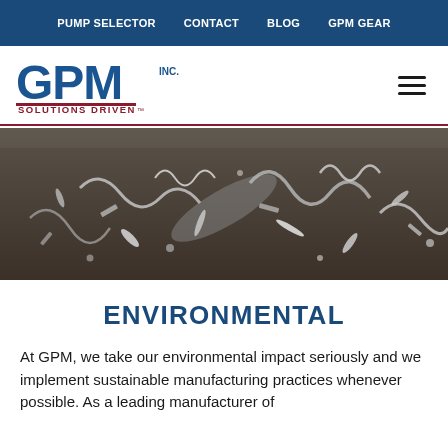PUMP SELECTOR | CONTACT | BLOG | GPM GEAR
[Figure (logo): GPM Inc. Solutions Driven logo — blue GPM letters with red underline and 'SOLUTIONS DRIVEN' tagline]
[Figure (photo): Close-up photo of metal machining chips/swarf and screws scattered on a grey surface]
ENVIRONMENTAL
At GPM, we take our environmental impact seriously and we implement sustainable manufacturing practices whenever possible. As a leading manufacturer of